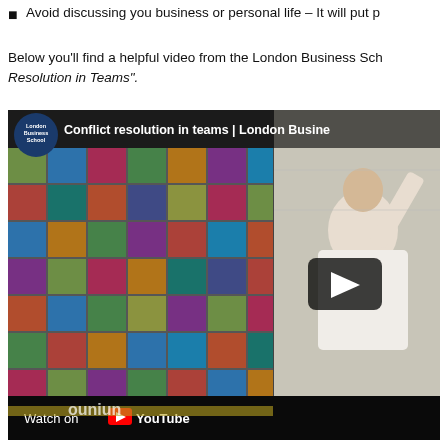Avoid discussing you business or personal life – It will put p...
Below you'll find a helpful video from the London Business Sch... Resolution in Teams".
[Figure (screenshot): YouTube video thumbnail showing a London Business School lecture titled 'Conflict resolution in teams | London Business School'. A man in a white shirt is writing on a whiteboard next to a large collage of student photos. The London Business School logo is visible in the top left. A YouTube play button overlay is displayed. At the bottom: 'Watch on YouTube'.]